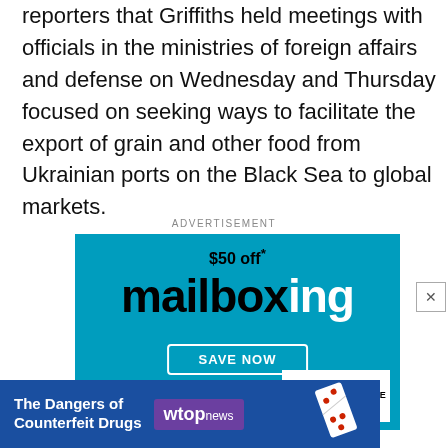reporters that Griffiths held meetings with officials in the ministries of foreign affairs and defense on Wednesday and Thursday focused on seeking ways to facilitate the export of grain and other food from Ukrainian ports on the Black Sea to global markets.
ADVERTISEMENT
[Figure (other): Advertisement banner for mailboxing service: '$50 off* mailboxing SAVE NOW' with The UPS Store branding on a teal/cyan background]
[Figure (other): Bottom advertisement banner: 'The Dangers of Counterfeit Drugs' with wtopnews branding on dark blue background, with domino tiles graphic on right]